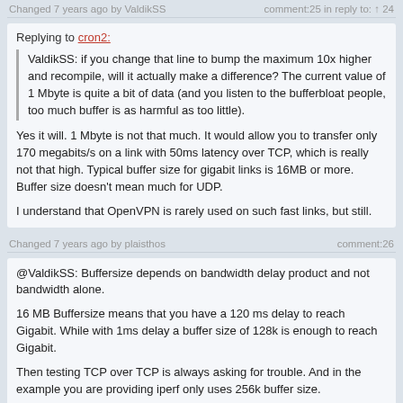Changed 7 years ago by ValdikSS   comment:25 in reply to: ↑ 24
Replying to cron2:
ValdikSS: if you change that line to bump the maximum 10x higher and recompile, will it actually make a difference? The current value of 1 Mbyte is quite a bit of data (and you listen to the bufferbloat people, too much buffer is as harmful as too little).
Yes it will. 1 Mbyte is not that much. It would allow you to transfer only 170 megabits/s on a link with 50ms latency over TCP, which is really not that high. Typical buffer size for gigabit links is 16MB or more. Buffer size doesn't mean much for UDP.
I understand that OpenVPN is rarely used on such fast links, but still.
Changed 7 years ago by plaisthos   comment:26
@ValdikSS: Buffersize depends on bandwidth delay product and not bandwidth alone.
16 MB Buffersize means that you have a 120 ms delay to reach Gigabit. While with 1ms delay a buffer size of 128k is enough to reach Gigabit.
Then testing TCP over TCP is always asking for trouble. And in the example you are providing iperf only uses 256k buffer size.